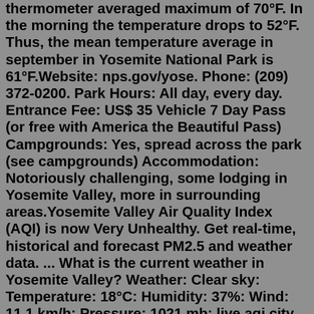thermometer averaged maximum of 70°F. In the morning the temperature drops to 52°F. Thus, the mean temperature average in september in Yosemite National Park is 61°F.Website: nps.gov/yose. Phone: (209) 372-0200. Park Hours: All day, every day. Entrance Fee: US$ 35 Vehicle 7 Day Pass (or free with America the Beautiful Pass) Campgrounds: Yes, spread across the park (see campgrounds) Accommodation: Notoriously challenging, some lodging in Yosemite Valley, more in surrounding areas.Yosemite Valley Air Quality Index (AQI) is now Very Unhealthy. Get real-time, historical and forecast PM2.5 and weather data. ... What is the current weather in Yosemite Valley? Weather: Clear sky: Temperature: 18°C: Humidity: 37%: Wind: 11.1 km/h: Pressure: 1021 mb: live aqi city ranking. Real-time USA city ranking # city US AQI; 1: Yosemite ...Fall in Yosemite is magnificent (as are Winter and Spring) -- but it is an entirely different experience than other times. No (or few) waterfalls, but beautiful fall color. And small crowds. W/ a...In Yosemite